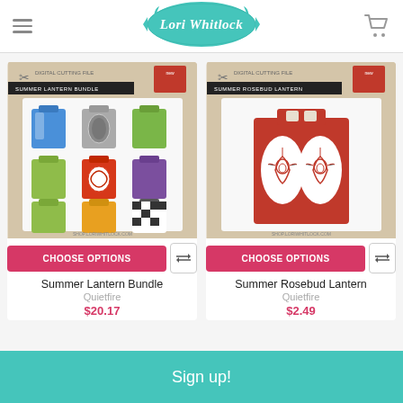Lori Whitlock
[Figure (photo): Product image: Summer Lantern Bundle - shows 9 decorative paper lanterns in various colors (blue, gray, green, olive, red, purple, green, yellow/orange, black/white checkered) on a kraft paper background with 'Digital Cutting File' header and 'Summer Lantern Bundle' label]
[Figure (photo): Product image: Summer Rosebud Lantern - shows a single red decorative paper lantern with white oval panel and rose/tulip cut design on a kraft paper background with 'Digital Cutting File' header and 'Summer Rosebud Lantern' label]
CHOOSE OPTIONS
CHOOSE OPTIONS
Summer Lantern Bundle
Summer Rosebud Lantern
Quietfire
Quietfire
$20.17
$2.49
Sign up!